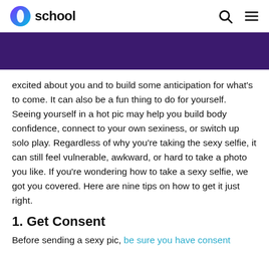school
[Figure (other): Dark purple banner bar]
excited about you and to build some anticipation for what's to come. It can also be a fun thing to do for yourself. Seeing yourself in a hot pic may help you build body confidence, connect to your own sexiness, or switch up solo play. Regardless of why you're taking the sexy selfie, it can still feel vulnerable, awkward, or hard to take a photo you like. If you're wondering how to take a sexy selfie, we got you covered. Here are nine tips on how to get it just right.
1. Get Consent
Before sending a sexy pic, be sure you have consent